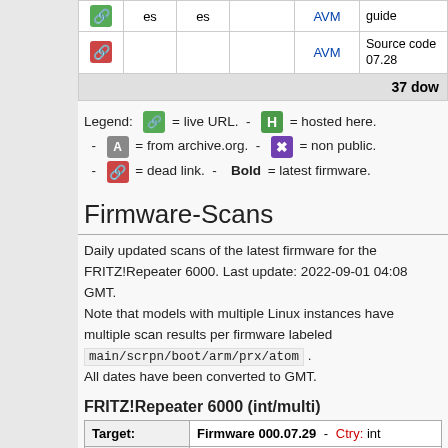|  |  |  |  | AVM | Source / guide |
| --- | --- | --- | --- | --- | --- |
| [icon] | es | es |  | AVM | guide |
| [icon] |  |  |  | AVM | Source code 07.28 |
|  |  |  |  |  | 37 dow... |
Legend:   = live URL.  -   = hosted here.  -   = from archive.org.  -   = non public.  -   = dead link.  -  Bold = latest firmware.
Firmware-Scans
Daily updated scans of the latest firmware for the FRITZ!Repeater 6000. Last update: 2022-09-01 04:08 GMT.
Note that models with multiple Linux instances have multiple scan results per firmware labeled main/scrpn/boot/arm/prx/atom .
All dates have been converted to GMT.
FRITZ!Repeater 6000 (int/multi)
| Target: | Firmware 000.07.29  -  Ctry: int |
| --- | --- |
| Fwlmg: | FRITZ.Repeater 6000-07-29.ima... |